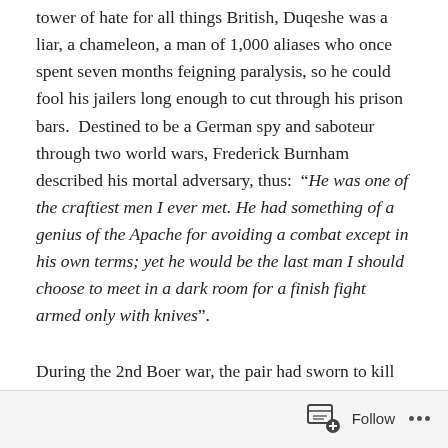tower of hate for all things British, Duqeshe was a liar, a chameleon, a man of 1,000 aliases who once spent seven months feigning paralysis, so he could fool his jailers long enough to cut through his prison bars.  Destined to be a German spy and saboteur through two world wars, Frederick Burnham described his mortal adversary, thus:  "He was one of the craftiest men I ever met. He had something of a genius of the Apache for avoiding a combat except in his own terms; yet he would be the last man I should choose to meet in a dark room for a finish fight armed only with knives".
During the 2nd Boer war, the pair had sworn to kill each other.  In 1910, these two men became partners in a mission to bring hippos, to America's dinner table.
Follow